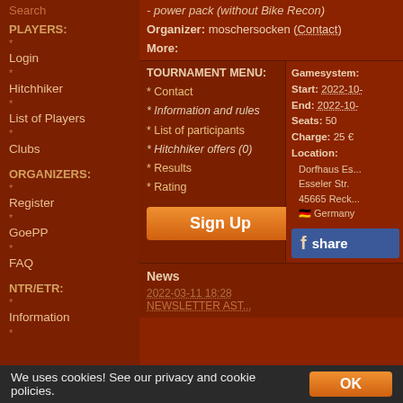Search
PLAYERS:
* Login
* Hitchhiker
* List of Players
* Clubs
ORGANIZERS:
* Register
* GoePP
* FAQ
NTR/ETR:
* Information
- power pack (without Bike Recon)
Organizer: moschersocken (Contact)
More:
TOURNAMENT MENU:
* Contact
* Information and rules
* List of participants
* Hitchhiker offers (0)
* Results
* Rating
[Figure (other): Sign Up button (orange gradient)]
Gamesystem:
Start: 2022-10-
End: 2022-10-
Seats: 50
Charge: 25 €
Location:
Dorfhaus Es...
Esseler Str.
45665 Reck...
Germany
[Figure (other): Facebook share button]
News
2022-03-11 18:28
NEWSLETTER AST
We uses cookies! See our privacy and cookie policies.
OK